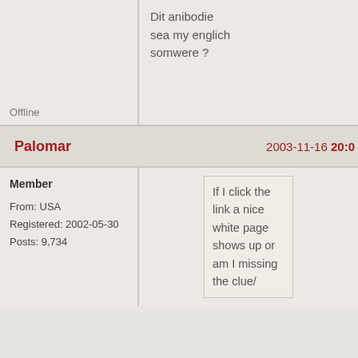Dit anibodie sea my englich somwere ?
Offline
Palomar
2003-11-16 20:0
Member
From: USA
Registered: 2002-05-30
Posts: 9,734
If I click the link a nice white page shows up or am I missing the clue/